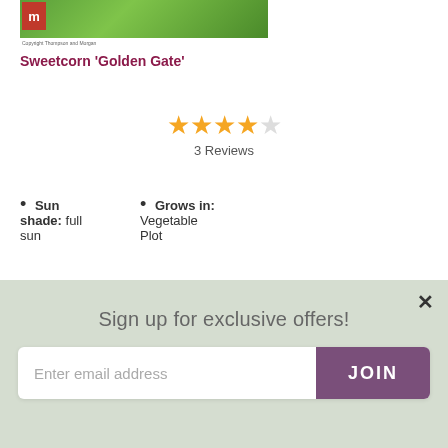[Figure (photo): Sweetcorn plant photo with Thompson & Morgan logo in top left corner]
Copyright Thompson and Morgan
Sweetcorn 'Golden Gate'
[Figure (other): Star rating: 4 out of 5 stars, 3 Reviews]
Sun shade: full sun
Grows in: Vegetable Plot
Flower Colour: Cream
Longevity: Annual
[Figure (photo): Close-up photo of yellow sweetcorn kernels]
Sign up for exclusive offers!
Enter email address
JOIN